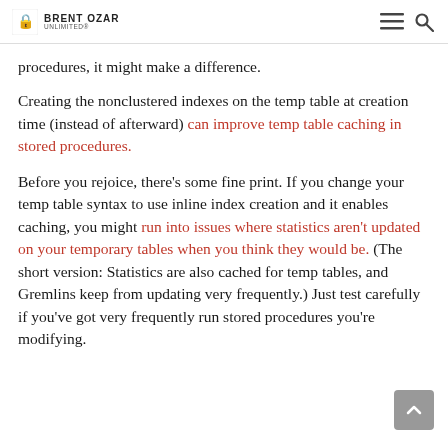BRENT OZAR UNLIMITED
procedures, it might make a difference.
Creating the nonclustered indexes on the temp table at creation time (instead of afterward) can improve temp table caching in stored procedures.
Before you rejoice, there's some fine print. If you change your temp table syntax to use inline index creation and it enables caching, you might run into issues where statistics aren't updated on your temporary tables when you think they would be. (The short version: Statistics are also cached for temp tables, and Gremlins keep from updating very frequently.) Just test carefully if you've got very frequently run stored procedures you're modifying.